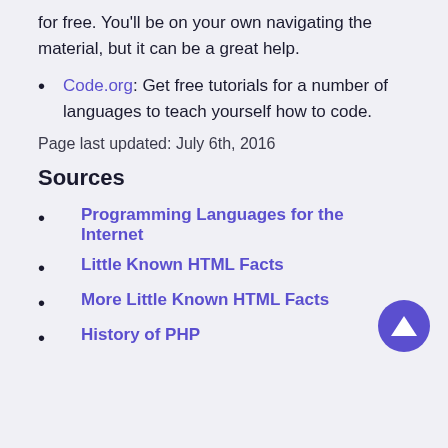for free. You'll be on your own navigating the material, but it can be a great help.
Code.org: Get free tutorials for a number of languages to teach yourself how to code.
Page last updated: July 6th, 2016
Sources
Programming Languages for the Internet
Little Known HTML Facts
More Little Known HTML Facts
History of PHP